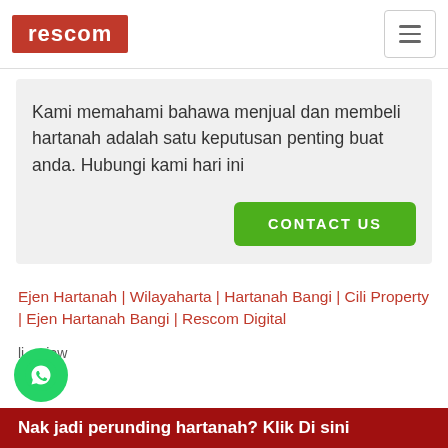rescom
Kami memahami bahawa menjual dan membeli hartanah adalah satu keputusan penting buat anda. Hubungi kami hari ini
CONTACT US
Ejen Hartanah | Wilayaharta | Hartanah Bangi | Cili Property | Ejen Hartanah Bangi | Rescom Digital
li   iew
[Figure (logo): WhatsApp circular green button with phone/chat icon]
Nak jadi perunding hartanah? Klik Di sini